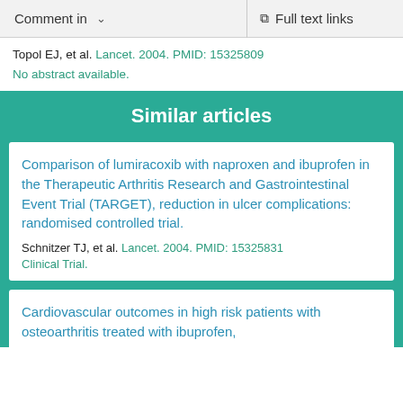Comment in   Full text links
Topol EJ, et al. Lancet. 2004. PMID: 15325809
No abstract available.
Similar articles
Comparison of lumiracoxib with naproxen and ibuprofen in the Therapeutic Arthritis Research and Gastrointestinal Event Trial (TARGET), reduction in ulcer complications: randomised controlled trial.
Schnitzer TJ, et al. Lancet. 2004. PMID: 15325831
Clinical Trial.
Cardiovascular outcomes in high risk patients with osteoarthritis treated with ibuprofen,